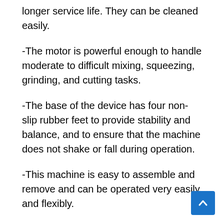longer service life. They can be cleaned easily.
-The motor is powerful enough to handle moderate to difficult mixing, squeezing, grinding, and cutting tasks.
-The base of the device has four non-slip rubber feet to provide stability and balance, and to ensure that the machine does not shake or fall during operation.
-This machine is easy to assemble and remove and can be operated very easily and flexibly.